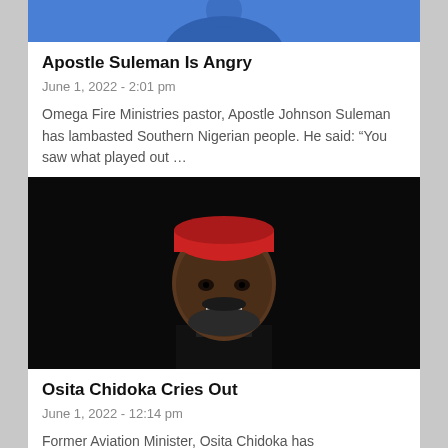[Figure (photo): Top portion of a person wearing a blue outfit, cropped to show only the torso/lower face area]
Apostle Suleman Is Angry
June 1, 2022 - 2:01 pm
Omega Fire Ministries pastor, Apostle Johnson Suleman has lambasted Southern Nigerian people. He said: “You saw what played out …
[Figure (photo): Portrait of a smiling man wearing a red cap and black outfit against a dark background]
Osita Chidoka Cries Out
June 1, 2022 - 12:14 pm
Former Aviation Minister, Osita Chidoka has